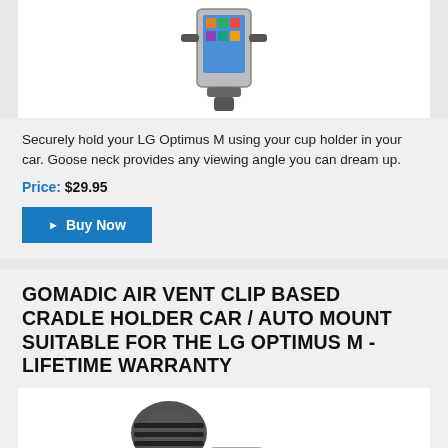[Figure (photo): Photo of a car cup holder mount for LG Optimus M phone, showing the device mounted in a cradle with goose neck.]
Securely hold your LG Optimus M using your cup holder in your car. Goose neck provides any viewing angle you can dream up.
Price: $29.95
Buy Now
GOMADIC AIR VENT CLIP BASED CRADLE HOLDER CAR / AUTO MOUNT SUITABLE FOR THE LG OPTIMUS M - LIFETIME WARRANTY
[Figure (photo): Photo of an air vent clip based cradle holder car mount for LG Optimus M, showing the clip and cradle assembly with a phone inserted.]